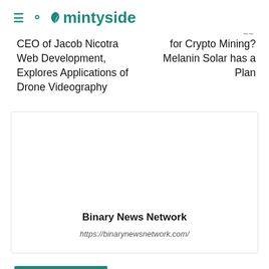mintyside
CEO of Jacob Nicotra Web Development, Explores Applications of Drone Videography
for Crypto Mining? Melanin Solar has a Plan
[Figure (other): Embedded content card for Binary News Network showing logo area, title Binary News Network and URL https://binarynewsnetwork.com/]
Binary News Network
https://binarynewsnetwork.com/